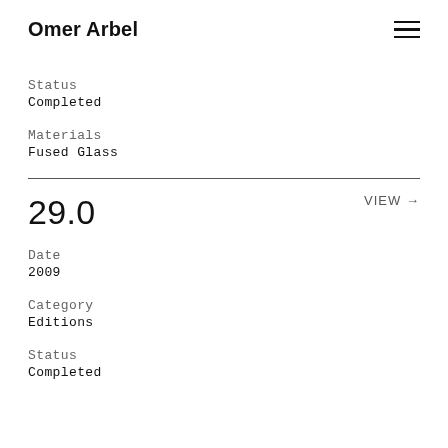Omer Arbel
Status
Completed
Materials
Fused Glass
29.0
VIEW →
Date
2009
Category
Editions
Status
Completed